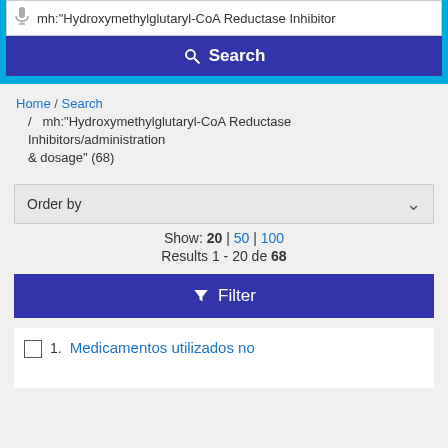mh:"Hydroxymethylglutaryl-CoA Reductase Inhibitor...
Search
Home / Search / mh:"Hydroxymethylglutaryl-CoA Reductase Inhibitors/administration & dosage" (68)
Order by
Show: 20 | 50 | 100
Results 1 - 20 de 68
Filter
1. Medicamentos utilizados no